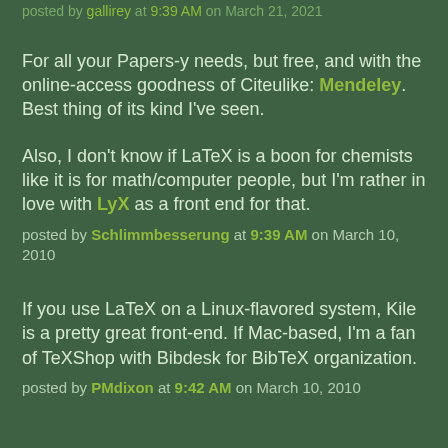posted by gallirey at 9:39 AM on March 21, 2021
For all your Papers-y needs, but free, and with the online-access goodness of Citeulike: Mendeley. Best thing of its kind I've seen.
Also, I don't know if LaTeX is a boon for chemists like it is for math/computer people, but I'm rather in love with LyX as a front end for that.
posted by Schlimmbesserung at 9:39 AM on March 10, 2010
If you use LaTeX on a Linux-flavored system, Kile is a pretty great front-end. If Mac-based, I'm a fan of TeXShop with Bibdesk for BibTeX organization.
posted by PMdixon at 9:42 AM on March 10, 2010